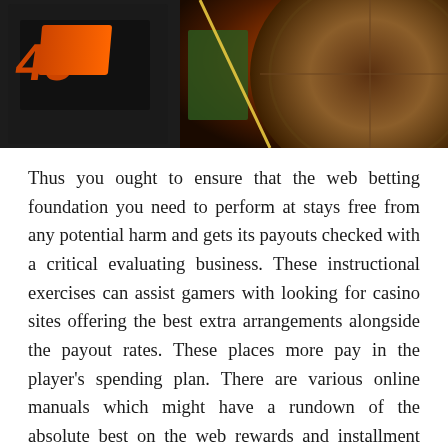[Figure (photo): Close-up photograph of a casino roulette wheel showing orange/red number markings on a dark background with green and brown colored sections of the wheel visible.]
Thus you ought to ensure that the web betting foundation you need to perform at stays free from any potential harm and gets its payouts checked with a critical evaluating business. These instructional exercises can assist gamers with looking for casino sites offering the best extra arrangements alongside the payout rates. These places more pay in the player's spending plan. There are various online manuals which might have a rundown of the absolute best on the web rewards and installment costs. Moreover, it assist with normal computer game appreciate, methodologies and systems for bringing home different game championships like Hold'Em and